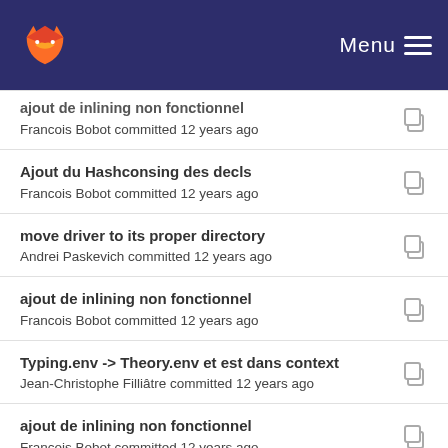GitLab — Menu
ajout de inlining non fonctionnel — Francois Bobot committed 12 years ago
Ajout du Hashconsing des decls — Francois Bobot committed 12 years ago
move driver to its proper directory — Andrei Paskevich committed 12 years ago
ajout de inlining non fonctionnel — Francois Bobot committed 12 years ago
Typing.env -> Theory.env et est dans context — Jean-Christophe Filliâtre committed 12 years ago
ajout de inlining non fonctionnel — Francois Bobot committed 12 years ago
(partial title) — Francois Bobot committed 12 years ago
"Ouaaaaais" commit — Andrei Paskevich committed 12 years ago